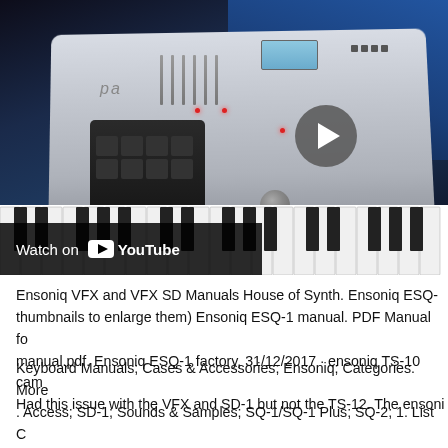[Figure (screenshot): YouTube video thumbnail showing a Korg keyboard synthesizer (arranger keyboard, white/grey body with piano keys, display screen, pads and buttons) against a dark blue background. A play button overlay is visible in the center-right. A 'Watch on YouTube' bar is at the bottom-left of the video frame.]
Ensoniq VFX and VFX SD Manuals House of Synth. Ensoniq ESQ- thumbnails to enlarge them) Ensoniq ESQ-1 manual. PDF Manual fo manual.pdf. Ensoniq ESQ-1 factory, 31/12/2017 · ensoniq TS-10 cam Had this issue with the VFX and SD-1 but not the TS-12. The ensoni
Keyboard Manuals; Cases & Accessories; Ensoniq; Categories. More . Access; SD-1; Sounds & Samples; SQ-1/SQ-1 Plus; SQ-2; 1. List C Manual PCB as implemented on various Ensoniq keyboards such as